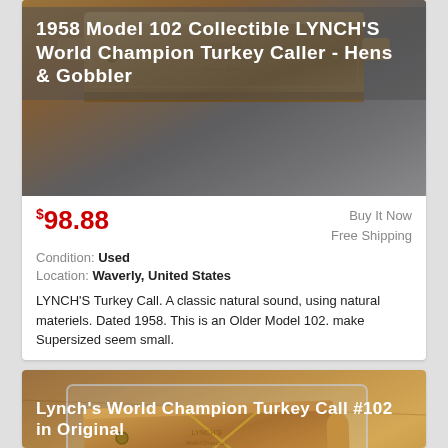[Figure (photo): Photo of a wooden Lynch's World Champion Turkey Caller box, shown from above on a grey/brown surface]
1958 Model 102 Collectible LYNCH'S World Champion Turkey Caller - Hens & Gobbler
$98.88
Buy It Now
Free Shipping
Condition: Used
Location: Waverly, United States
LYNCH'S Turkey Call. A classic natural sound, using natural materiels. Dated 1958. This is an Older Model 102. make Supersized seem small.
[Figure (photo): Photo of a Lynch's World Champion Turkey Call #102 in original plastic packaging on a wooden surface]
Lynch's World Champion Turkey Call #102 in Original